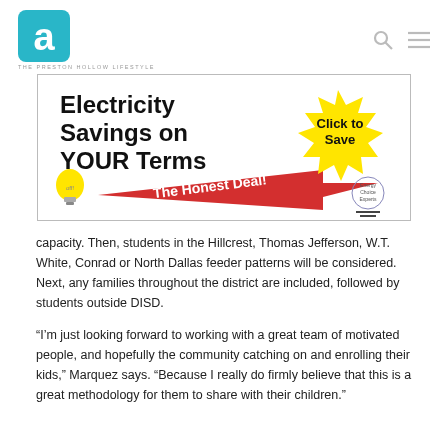[Figure (logo): Areavibes 'a' logo with teal/blue rounded square and white letter a, with tagline THE PRESTON HOLLOW LIFESTYLE below]
[Figure (infographic): Advertisement banner: 'Electricity Savings on YOUR Terms' with red arrow, yellow starburst 'Click to Save', 'The Honest Deal!' text, lightbulb illustration, and Energy Choice Experts logo]
capacity. Then, students in the Hillcrest, Thomas Jefferson, W.T. White, Conrad or North Dallas feeder patterns will be considered. Next, any families throughout the district are included, followed by students outside DISD.
“I’m just looking forward to working with a great team of motivated people, and hopefully the community catching on and enrolling their kids,” Marquez says. “Because I really do firmly believe that this is a great methodology for them to share with their children.”